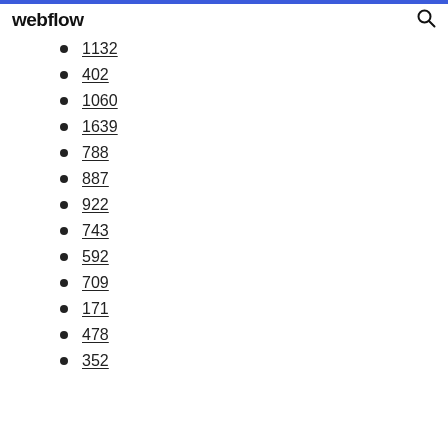webflow
1132
402
1060
1639
788
887
922
743
592
709
171
478
352